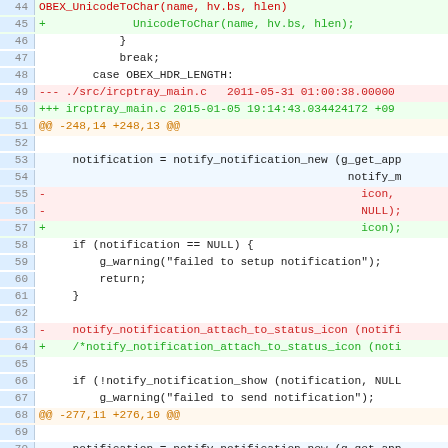[Figure (screenshot): Syntax-highlighted diff/code viewer showing lines 44-74 of a C source file diff, with line numbers in blue gutter, red/green/orange color coding for removed/added/hunk lines, and context lines in black on white or light blue backgrounds.]